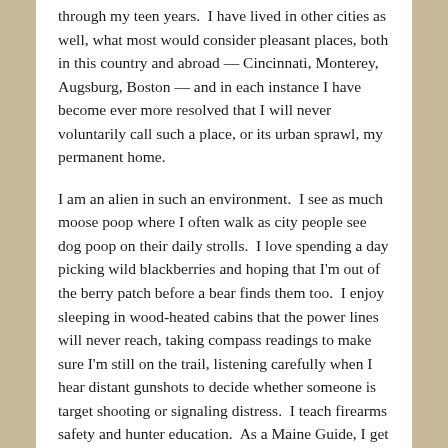through my teen years.  I have lived in other cities as well, what most would consider pleasant places, both in this country and abroad — Cincinnati, Monterey, Augsburg, Boston — and in each instance I have become ever more resolved that I will never voluntarily call such a place, or its urban sprawl, my permanent home.
I am an alien in such an environment.  I see as much moose poop where I often walk as city people see dog poop on their daily strolls.  I love spending a day picking wild blackberries and hoping that I'm out of the berry patch before a bear finds them too.  I enjoy sleeping in wood-heated cabins that the power lines will never reach, taking compass readings to make sure I'm still on the trail, listening carefully when I hear distant gunshots to decide whether someone is target shooting or signaling distress.  I teach firearms safety and hunter education.  As a Maine Guide, I get paid to go fishing.  When I'm home,